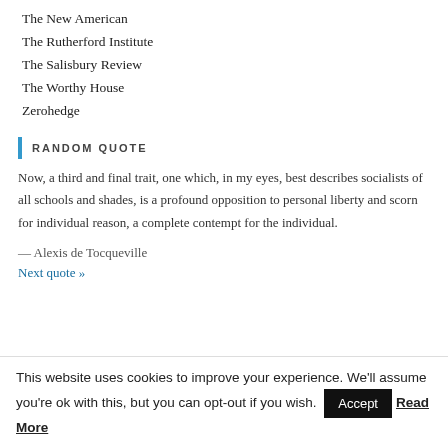The New American
The Rutherford Institute
The Salisbury Review
The Worthy House
Zerohedge
RANDOM QUOTE
Now, a third and final trait, one which, in my eyes, best describes socialists of all schools and shades, is a profound opposition to personal liberty and scorn for individual reason, a complete contempt for the individual.
— Alexis de Tocqueville
Next quote »
This website uses cookies to improve your experience. We'll assume you're ok with this, but you can opt-out if you wish. Accept Read More